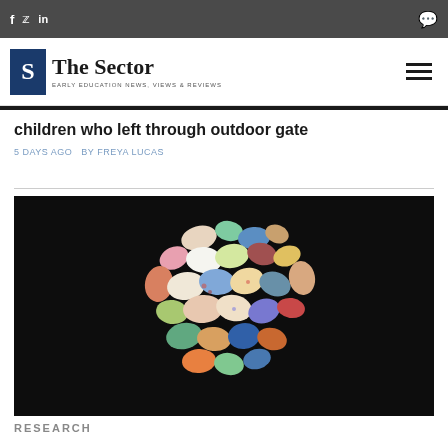f  in — The Sector — EARLY EDUCATION NEWS, VIEWS & REVIEWS
children who left through outdoor gate
5 DAYS AGO  BY FREYA LUCAS
[Figure (photo): Colourful painted ceramic or stone pieces arranged in a circular cluster on a black background]
RESEARCH